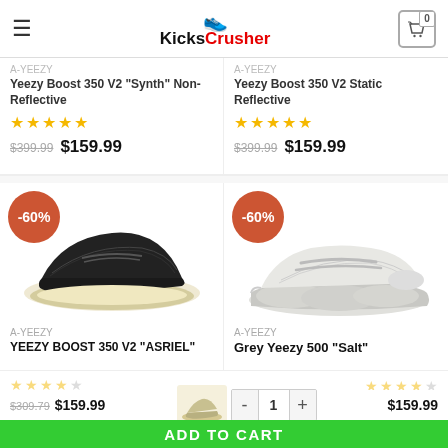KicksCrusher
Yeezy Boost 350 V2 "Synth" Non-Reflective
Yeezy Boost 350 V2 Static Reflective
$399.99  $159.99
$399.99  $159.99
[Figure (photo): Dark Yeezy Boost 350 V2 Asriel sneaker with -60% badge]
[Figure (photo): Grey Yeezy 500 Salt sneaker with -60% badge]
A-YEEZY
YEEZY BOOST 350 V2 "ASRIEL"
A-YEEZY
Grey Yeezy 500 "Salt"
$309.79  $159.99
$159.99
ADD TO CART